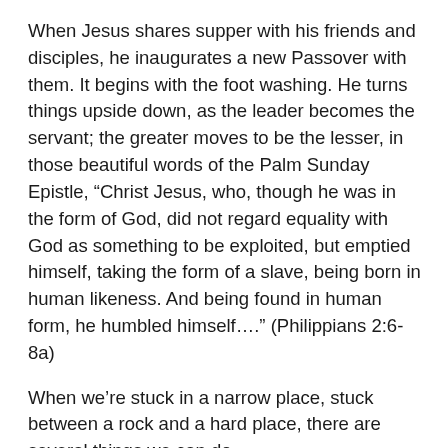When Jesus shares supper with his friends and disciples, he inaugurates a new Passover with them. It begins with the foot washing. He turns things upside down, as the leader becomes the servant; the greater moves to be the lesser, in those beautiful words of the Palm Sunday Epistle, “Christ Jesus, who, though he was in the form of God, did not regard equality with God as something to be exploited, but emptied himself, taking the form of a slave, being born in human likeness. And being found in human form, he humbled himself….” (Philippians 2:6-8a)
When we’re stuck in a narrow place, stuck between a rock and a hard place, there are several things we can do.
We can pray.
We can offer ourselves in service.
We can listen to the voices of